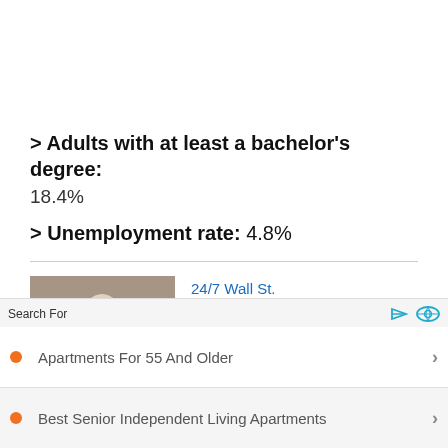> Adults with at least a bachelor's degree:
18.4%
> Unemployment rate: 4.8%
[Figure (photo): Person cutting a red ribbon at a business opening, with others in background]
24/7 Wall St.
Hottest Businesses to Franchise in America
Search For
Apartments For 55 And Older
Best Senior Independent Living Apartments